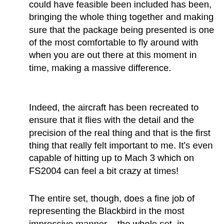could have feasible been included has been, bringing the whole thing together and making sure that the package being presented is one of the most comfortable to fly around with when you are out there at this moment in time, making a massive difference.
Indeed, the aircraft has been recreated to ensure that it flies with the detail and the precision of the real thing and that is the first thing that really felt important to me. It's even capable of hitting up to Mach 3 which on FS2004 can feel a bit crazy at times!
The entire set, though, does a fine job of representing the Blackbird in the most impressive manner – the whole set, in general, look the best that it possibly can without making you feel too out of your comfort zone – even as someone who never usually tries out models like this, I would highly recommend it.
Adam McEnroe
Adam McEnroe is a flight sim enthusiast who has been simming since the days of FS95. Adam writes all of the download section editorials after testing each of the files. Adam has extensive knowledge using various flight simulator packages and
[Figure (photo): Photo of Adam McEnroe, a young man with a woman, both in formal attire, against a light background.]